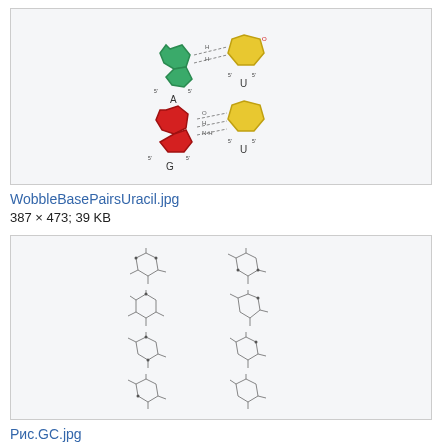[Figure (illustration): Wobble base pairs diagram showing A-U and G-U base pairs with colored molecular ring structures (green for A, yellow for U, red for G) connected by hydrogen bonds indicated by dashed lines, labeled A, U, G, U]
WobbleBasePairsUracil.jpg
387 × 473; 39 KB
[Figure (illustration): Grid of 8 molecular structure diagrams (2 columns × 4 rows) showing GC base pair stick-and-bond chemical structures in black line art]
Рис.GC.jpg
2,128 × 3,068; 398 KB